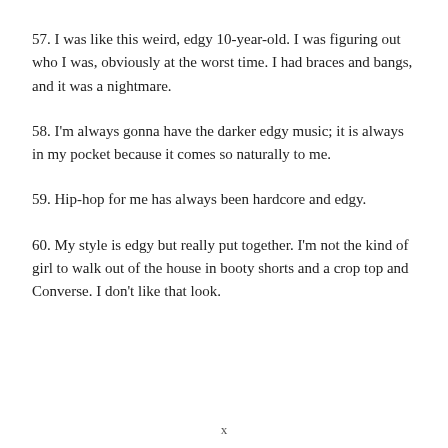57. I was like this weird, edgy 10-year-old. I was figuring out who I was, obviously at the worst time. I had braces and bangs, and it was a nightmare.
58. I'm always gonna have the darker edgy music; it is always in my pocket because it comes so naturally to me.
59. Hip-hop for me has always been hardcore and edgy.
60. My style is edgy but really put together. I'm not the kind of girl to walk out of the house in booty shorts and a crop top and Converse. I don't like that look.
x